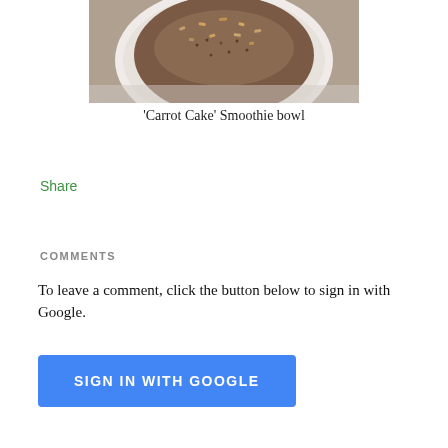[Figure (photo): Top-down view of a white bowl containing a smoothie bowl topped with granola and brown sprinkles, partially cropped at top of page]
'Carrot Cake' Smoothie bowl
Share
COMMENTS
To leave a comment, click the button below to sign in with Google.
SIGN IN WITH GOOGLE